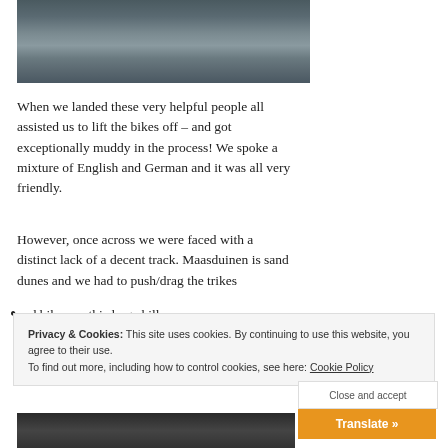[Figure (photo): Dark water surface with reflections, top portion of image]
When we landed these very helpful people all assisted us to lift the bikes off – and got exceptionally muddy in the process! We spoke a mixture of English and German and it was all very friendly.
However, once across we were faced with a distinct lack of a decent track. Maasduinen is sand dunes and we had to push/drag the trikes and bikes up this large hill.
Privacy & Cookies: This site uses cookies. By continuing to use this website, you agree to their use.
To find out more, including how to control cookies, see here: Cookie Policy
Close and accept
Translate »
[Figure (photo): Dark vehicle or scene, bottom of page]